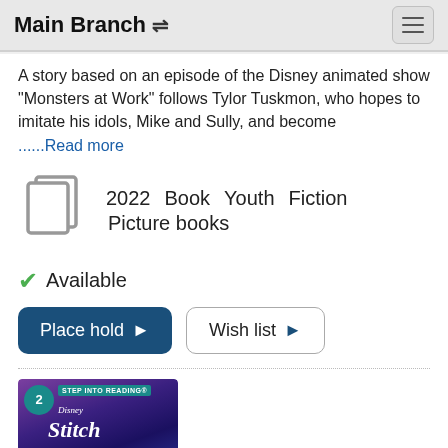Main Branch
A story based on an episode of the Disney animated show "Monsters at Work" follows Tylor Tuskmon, who hopes to imitate his idols, Mike and Sully, and become ......Read more
2022  Book  Youth  Fiction  Picture books
Available
Place hold
Wish list
[Figure (illustration): Book cover for a Step Into Reading Disney Stitch book, showing colorful animated art on a purple/blue background with the Step 2 badge and the word Stitch in stylized text]